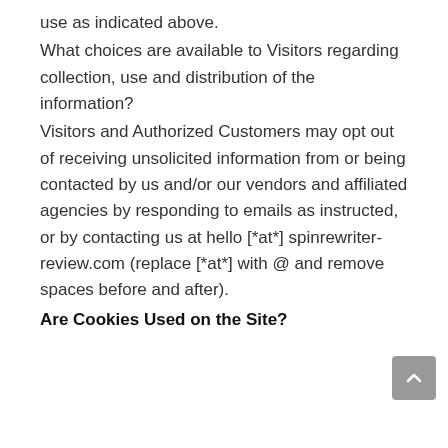use as indicated above.
What choices are available to Visitors regarding collection, use and distribution of the information?
Visitors and Authorized Customers may opt out of receiving unsolicited information from or being contacted by us and/or our vendors and affiliated agencies by responding to emails as instructed, or by contacting us at hello [*at*] spinrewriter-review.com (replace [*at*] with @ and remove spaces before and after).
Are Cookies Used on the Site?